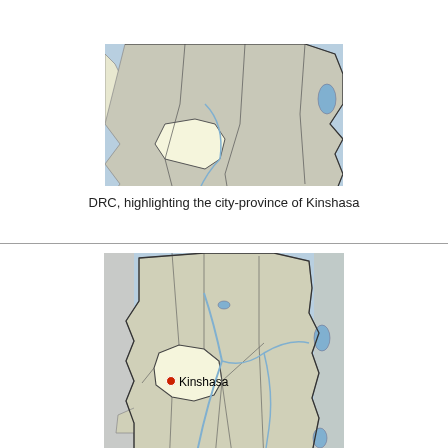[Figure (map): Map of DRC highlighting the city-province of Kinshasa (top partial view)]
DRC, highlighting the city-province of Kinshasa
[Figure (map): Full map of DRC highlighting the city-province of Kinshasa with Kinshasa city marked by a red dot]
DRC, highlighting the city-province of Kinshasa
Coordinates: Lua error in Module:Coordinates at line 668: callParserFunction: function "#coordinates" was not found.
Country  🇨🇩 Democratic Republic of the